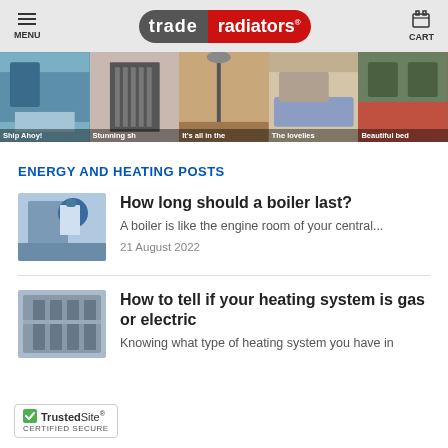trade radiators — MENU / CART
[Figure (photo): Horizontal strip of five room/interior photos showing radiators and decorated rooms with captions: Ship Ahoy!, Stunning sh[owroom], It's all in the, The lovelies, Beautiful bed[room]]
ENERGY AND HEATING POSTS
[Figure (photo): Thumbnail of a person in blue hard hat working on a boiler or heating unit]
How long should a boiler last?
A boiler is like the engine room of your central...
21 August 2022
[Figure (photo): Thumbnail of heating system pipes or boiler equipment]
How to tell if your heating system is gas or electric
Knowing what type of heating system you have in